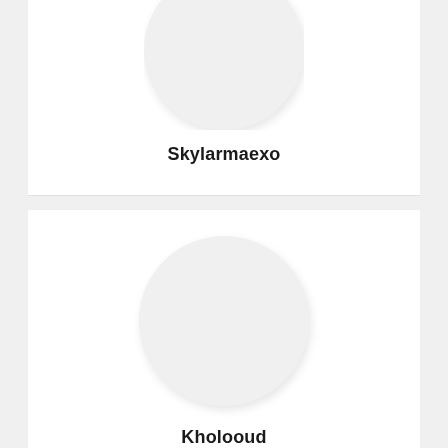[Figure (illustration): Circular avatar placeholder for user Skylarmaexo, partially cropped at top]
Skylarmaexo
[Figure (illustration): Circular avatar placeholder for user Kholooud]
Kholooud